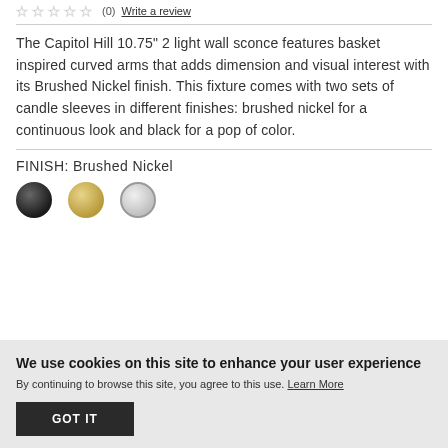(0)  Write a review
The Capitol Hill 10.75" 2 light wall sconce features basket inspired curved arms that adds dimension and visual interest with its Brushed Nickel finish. This fixture comes with two sets of candle sleeves in different finishes: brushed nickel for a continuous look and black for a pop of color.
FINISH: Brushed Nickel
[Figure (illustration): Three finish color circles: dark/black, gold/champagne, and brushed nickel (selected, with border)]
We use cookies on this site to enhance your user experience
By continuing to browse this site, you agree to this use. Learn More
GOT IT